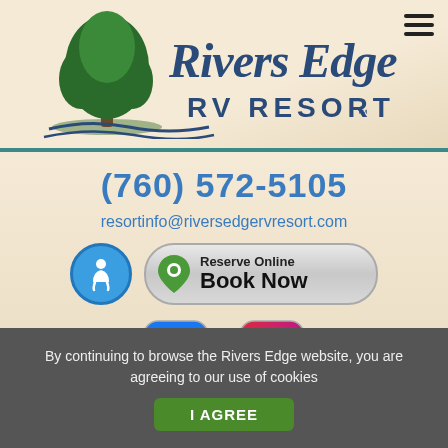[Figure (logo): Rivers Edge RV Resort logo with green tree and cursive/bold text]
(760) 572-5105
resortinfo@riversedgervresort.com
[Figure (other): Accessibility icon button (blue circle with person/wheelchair symbol)]
[Figure (other): Reserve Online / Book Now button with green location pin icon]
[Figure (other): Facebook icon button (rounded square blue with f)]
[Figure (other): Instagram icon button (rounded square gradient with camera)]
By continuing to browse the Rivers Edge website, you are agreeing to our use of cookies
I AGREE